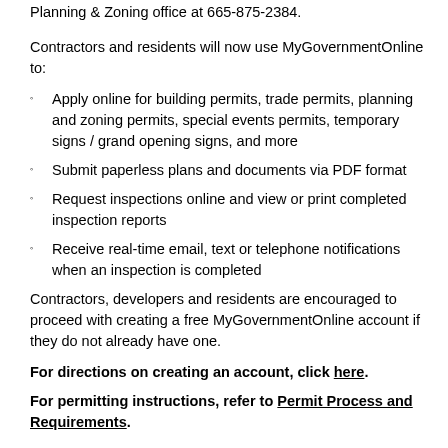Planning & Zoning office at 665-875-2384.
Contractors and residents will now use MyGovernmentOnline to:
Apply online for building permits, trade permits, planning and zoning permits, special events permits, temporary signs / grand opening signs, and more
Submit paperless plans and documents via PDF format
Request inspections online and view or print completed inspection reports
Receive real-time email, text or telephone notifications when an inspection is completed
Contractors, developers and residents are encouraged to proceed with creating a free MyGovernmentOnline account if they do not already have one.
For directions on creating an account, click here.
For permitting instructions, refer to Permit Process and Requirements.